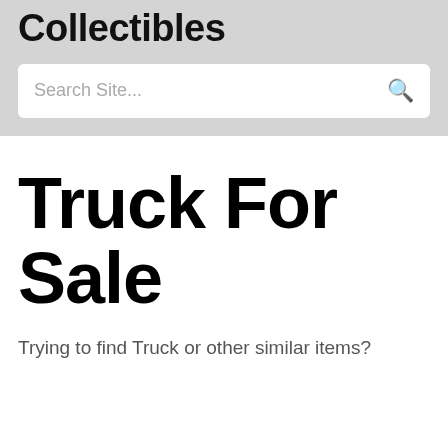Collectibles
Search Site...
Truck For Sale
Trying to find Truck or other similar items?